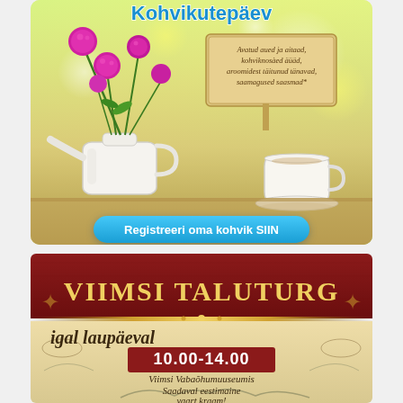[Figure (infographic): Top banner for Kohvikutepäev (Café Day) event. Shows a watering can with pink globe amaranth flowers, a wooden sign with cursive Estonian text about open gardens, aromatic coffees, fragrance-filled streets, and wonderful products, and a white coffee cup on a saucer. Green/yellow bokeh background. Blue gradient button at bottom reads 'Registreeri oma kohvik SIIN'.]
[Figure (infographic): Bottom banner for Viimsi Taluturg (Viimsi Farm Market). Dark red top section with gold title 'VIIMSI TALUTURG'. Light beige lower section with italic text 'igal laupäeval' (every Saturday), red badge showing '10.00–14.00', text 'Viimsi Vabaõhumuuseumis' (at Viimsi Open Air Museum), and 'Saadaval eestimaine vaart kraam!' (Estonian quality goods available!). Decorative botanical motifs.]